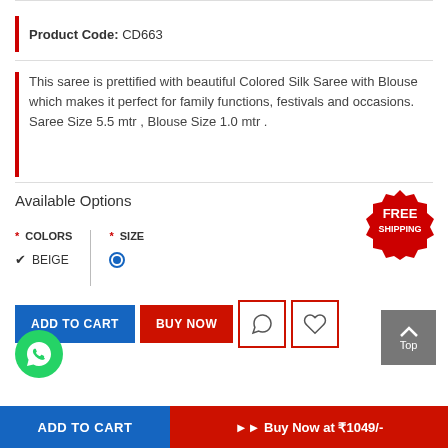Product Code: CD663
This saree is prettified with beautiful Colored Silk Saree with Blouse which makes it perfect for family functions, festivals and occasions. Saree Size 5.5 mtr , Blouse Size 1.0 mtr .
Available Options
[Figure (logo): FREE SHIPPING red starburst badge]
* COLORS * SIZE ✔ BEIGE [radio selected]
ADD TO CART | BUY NOW | WhatsApp icon | Heart icon
Top button
ADD TO CART | ▶▶ Buy Now at ₹1049/-